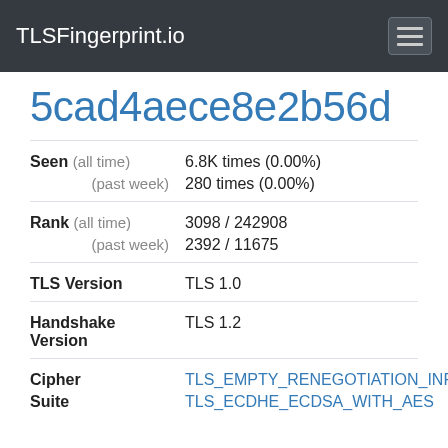TLSFingerprint.io
5cad4aece8e2b56d
| Field | Qualifier | Value |
| --- | --- | --- |
| Seen | (all time) | 6.8K times (0.00%) |
|  | (past week) | 280 times (0.00%) |
| Rank | (all time) | 3098 / 242908 |
|  | (past week) | 2392 / 11675 |
| TLS Version |  | TLS 1.0 |
| Handshake Version |  | TLS 1.2 |
| Cipher |  | TLS_EMPTY_RENEGOTIATION_INFO... |
| Suite |  | TLS_ECDHE_ECDSA_WITH_AES... |